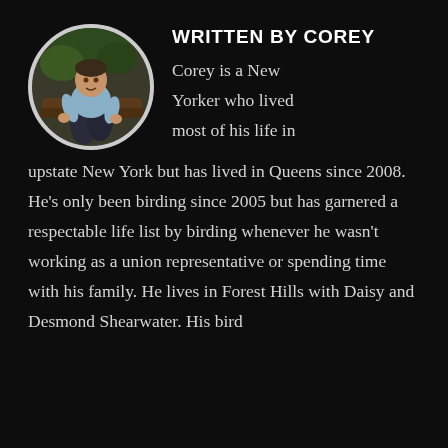[Figure (photo): Circular portrait photo of Corey, a man crouching outdoors near wooden logs, wearing a light blue shirt and dark pants, with trees in the background.]
WRITTEN BY COREY
Corey is a New Yorker who lived most of his life in upstate New York but has lived in Queens since 2008. He's only been birding since 2005 but has garnered a respectable life list by birding whenever he wasn't working as a union representative or spending time with his family. He lives in Forest Hills with Daisy and Desmond Shearwater. His bird